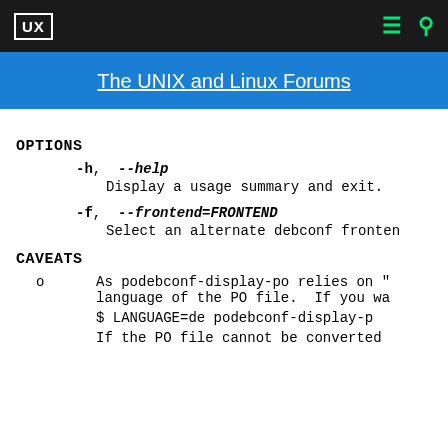UX | The UNIX and Linux Forums
OPTIONS
-h, --help
    Display a usage summary and exit.
-f, --frontend=FRONTEND
    Select an alternate debconf fronten
CAVEATS
o  As podebconf-display-po relies on "
language of the PO file.  If you wa

    $ LANGUAGE=de podebconf-display-p

If the PO file cannot be converted